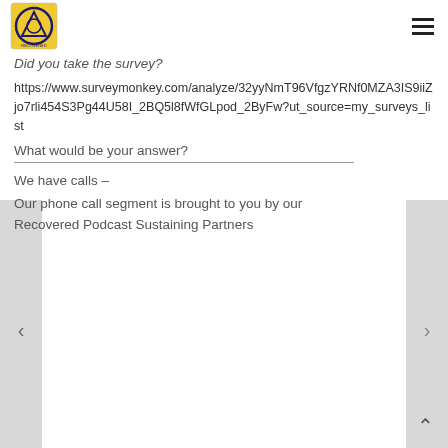Recovered Podcast logo and menu icon
Did you take the survey?
https://www.surveymonkey.com/analyze/32yyNmT96VfgzYRNf0MZA3IS9iiZjo7rli454S3Pg44U58I_2BQ5l8fWfGLpod_2ByFw?ut_source=my_surveys_list
What would be your answer?
We have calls –
Our phone call segment is brought to you by our Recovered Podcast Sustaining Partners